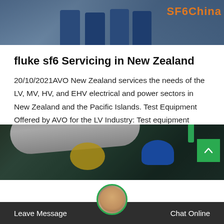[Figure (photo): Top banner photo showing workers in jeans/work clothing, with SF6China watermark in orange-gold text at top right]
fluke sf6 Servicing in New Zealand
20/10/2021AVO New Zealand services the needs of the LV, MV, HV, and EHV electrical and power sectors in New Zealand and the Pacific Islands. Test Equipment Offered by AVO for the LV Industry: Test equipment offered for the LV industry includes…
[Figure (other): Get Price button with green/teal border]
[Figure (photo): Bottom photo showing industrial equipment, large cylindrical pipes/cables, yellow caution symbol, worker with blue helmet, and green pipe fitting visible]
Leave Message   Chat Online